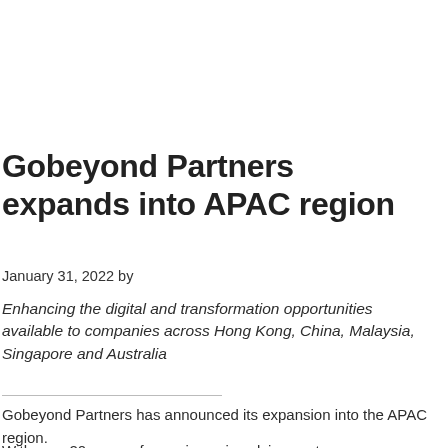Gobeyond Partners expands into APAC region
January 31, 2022 by
Enhancing the digital and transformation opportunities available to companies across Hong Kong, China, Malaysia, Singapore and Australia
Gobeyond Partners has announced its expansion into the APAC region.
With over 20 years of experience in solving customer